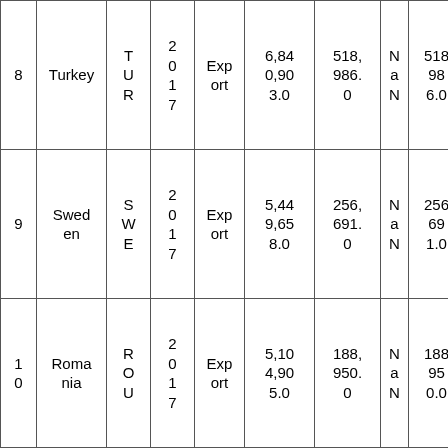| # | Country | Code | Year | Type | Value1 | Value2 | N/a | Value3 | Value4 |
| --- | --- | --- | --- | --- | --- | --- | --- | --- | --- |
| 8 | Turkey | TUR | 2017 | Export | 6,840,903.0 | 518,986.0 | NaN | 518,986.0 | 13.18 |
| 9 | Sweden | SWE | 2017 | Export | 5,449,658.0 | 256,691.0 | NaN | 256,691.0 | 21.23 |
| 10 | Romania | ROU | 2017 | Export | 5,104,905.0 | 188,950.0 | NaN | 188,950.0 | 27.02 |